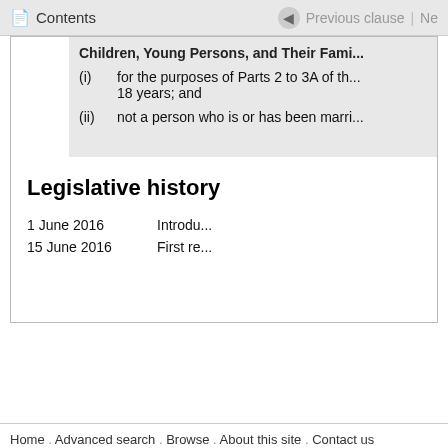Contents | Previous clause | Ne
Children, Young Persons, and Their Families
(i) for the purposes of Parts 2 to 3A of th... 18 years; and
(ii) not a person who is or has been marri...
Legislative history
1 June 2016 Introdu...
15 June 2016 First re...
Home . Advanced search . Browse . About this site . Contact us . News
Site map . Glossary . Accessibility . Copyright . Privacy . Disclaimer